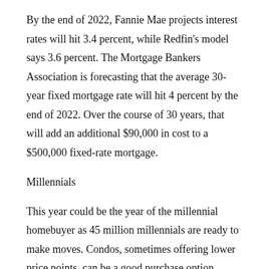By the end of 2022, Fannie Mae projects interest rates will hit 3.4 percent, while Redfin's model says 3.6 percent. The Mortgage Bankers Association is forecasting that the average 30-year fixed mortgage rate will hit 4 percent by the end of 2022. Over the course of 30 years, that will add an additional $90,000 in cost to a $500,000 fixed-rate mortgage.
Millennials
This year could be the year of the millennial homebuyer as 45 million millennials are ready to make moves. Condos, sometimes offering lower price points, can be a good purchase option. Demand from these first-time homebuyers will keep the market competitive. Among the market factors driving millennials toward a home purchase are rising rents, which are projected to increase 7.1 percent in addition to continued workplace flexibility that enables this segment, in particular, to broaden its home-search